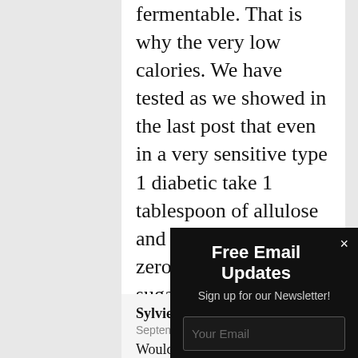fermentable. That is why the very low calories. We have tested as we showed in the last post that even in a very sensitive type 1 diabetic take 1 tablespoon of allulose and nothing else it had zero effect on blood sugar or ketone levels.
Sylvie says:
September 19, 2017
Would this w
Free Email Updates
Sign up for our Newsletter!
Your Email
Subscribe Now